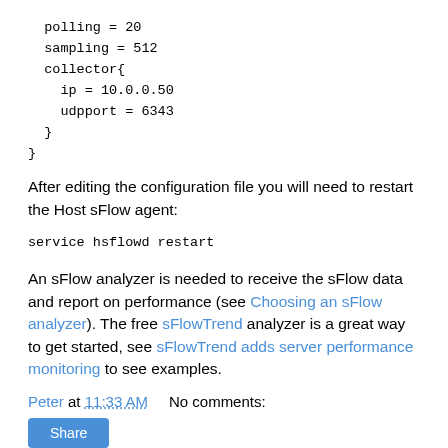polling = 20
  sampling = 512
  collector{
    ip = 10.0.0.50
    udpport = 6343
  }
}
After editing the configuration file you will need to restart the Host sFlow agent:
service hsflowd restart
An sFlow analyzer is needed to receive the sFlow data and report on performance (see Choosing an sFlow analyzer). The free sFlowTrend analyzer is a great way to get started, see sFlowTrend adds server performance monitoring to see examples.
Peter at 11:33 AM    No comments:
Share